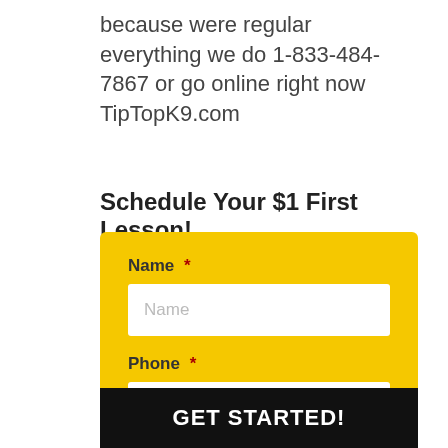because were regular everything we do 1-833-484-7867 or go online right now TipTopK9.com
Schedule Your $1 First Lesson!
[Figure (other): Yellow contact form with Name and Phone fields and a GET STARTED! button]